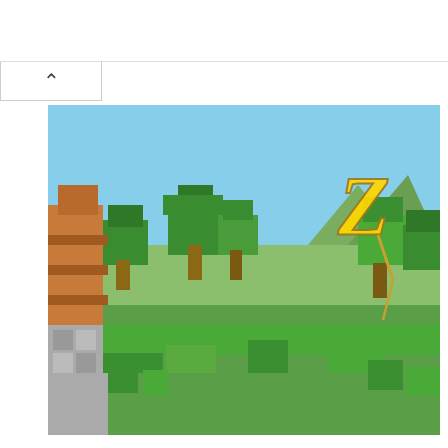[Figure (infographic): Advertisement banner for Truewerk workwear: title 'Workwear As A System', orange 'Buy now' button, TRUEWERK logo, ad close (x) and play icons]
[Figure (screenshot): Minecraft game screenshot showing Zelda Breath of the Wild map with blocky trees, landscape, and golden Zelda logo 'Z' in corner]
Download Zelda Breath of the Wild Map 1.12.2->1.11.2
Categories: Minecraft Maps  Tag: Adventure Maps/ Minecraft 1.7.10 Maps/ Minecraft 1.7.2 Maps/ Minecraft 1.8 Maps/ Minecraft 1.8.8 Maps/ Parkour Maps